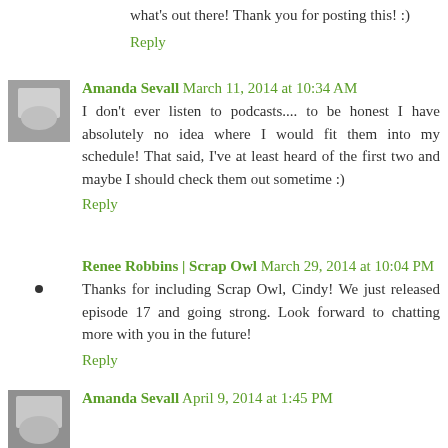what's out there! Thank you for posting this! :)
Reply
Amanda Sevall March 11, 2014 at 10:34 AM
I don't ever listen to podcasts.... to be honest I have absolutely no idea where I would fit them into my schedule! That said, I've at least heard of the first two and maybe I should check them out sometime :)
Reply
Renee Robbins | Scrap Owl March 29, 2014 at 10:04 PM
Thanks for including Scrap Owl, Cindy! We just released episode 17 and going strong. Look forward to chatting more with you in the future!
Reply
Amanda Sevall April 9, 2014 at 1:45 PM